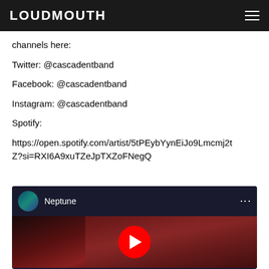LOUDMOUTH
channels here:

Twitter: @cascadentband

Facebook: @cascadentband

Instagram: @cascadentband

Spotify:

https://open.spotify.com/artist/5tPEybYynEiJo9Lmcmj2tZ?si=RXI6A9xuTZeJpTXZoFNegQ
[Figure (screenshot): YouTube video embed showing a video titled 'Neptune' with a thumbnail image of a hand with reddish lighting and a YouTube play button overlay.]